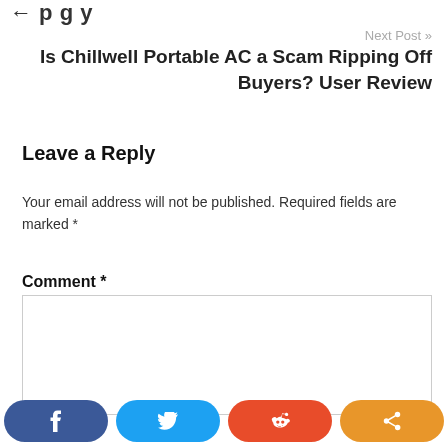← p g y
Next Post »
Is Chillwell Portable AC a Scam Ripping Off Buyers? User Review
Leave a Reply
Your email address will not be published. Required fields are marked *
Comment *
[Figure (other): Comment text area input box]
[Figure (infographic): Social share buttons: Facebook (blue), Twitter (light blue), Reddit (orange-red), Share (orange)]